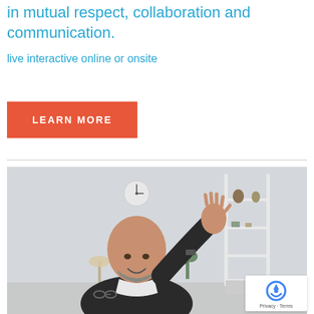in mutual respect, collaboration and communication.
live interactive online or onsite
LEARN MORE
[Figure (photo): A bald, bearded middle-aged man wearing a dark sweater over a white collar shirt, smiling and waving with his right hand raised. He is seated in a light-colored office room with a wall clock, a white ladder shelf with decorative items, a desk lamp, and a plant visible in the background.]
Privacy · Terms